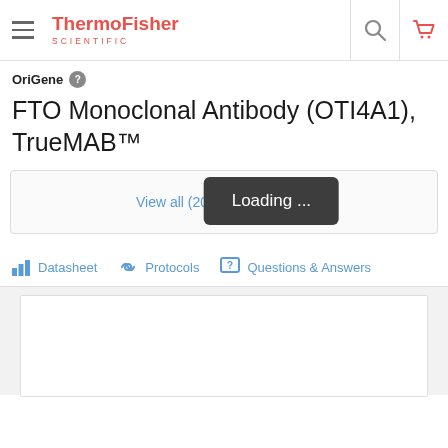ThermoFisher SCIENTIFIC
OriGene
FTO Monoclonal Antibody (OTI4A1), TrueMAB™
[Figure (screenshot): Loading overlay bubble with text 'Loading ...' on a view-all antibodies link panel]
View all (20) FTO antibodies
Datasheet
Protocols
Questions & Answers